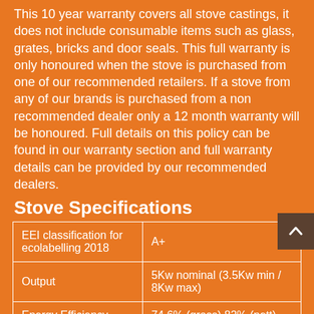This 10 year warranty covers all stove castings, it does not include consumable items such as glass, grates, bricks and door seals. This full warranty is only honoured when the stove is purchased from one of our recommended retailers. If a stove from any of our brands is purchased from a non recommended dealer only a 12 month warranty will be honoured. Full details on this policy can be found in our warranty section and full warranty details can be provided by our recommended dealers.
Stove Specifications
|  |  |
| --- | --- |
| EEI classification for ecolabelling 2018 | A+ |
| Output | 5Kw nominal (3.5Kw min / 8Kw max) |
| Energy Efficiency | 74.6% (gross) 82% (nett) |
| Width | 480mm |